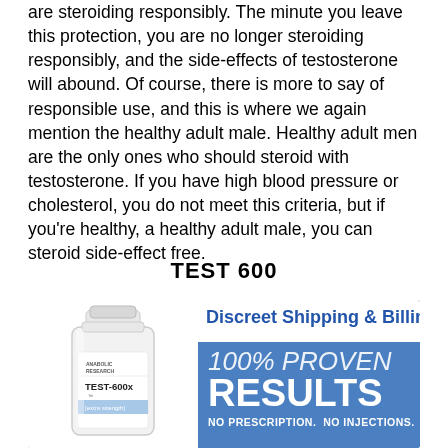are steroiding responsibly. The minute you leave this protection, you are no longer steroiding responsibly, and the side-effects of testosterone will abound. Of course, there is more to say of responsible use, and this is where we again mention the healthy adult male. Healthy adult men are the only ones who should steroid with testosterone. If you have high blood pressure or cholesterol, you do not meet this criteria, but if you're healthy, a healthy adult male, you can steroid side-effect free.
TEST 600
[Figure (infographic): Advertisement for TEST-600x supplement by Anabolic Research. Shows a white pill bottle on the left labeled TEST-600x extra strength, with text 'Discreet Shipping & Billing', '100% PROVEN RESULTS', and 'NO PRESCRIPTION. NO INJECTIONS.' on a blue background.]